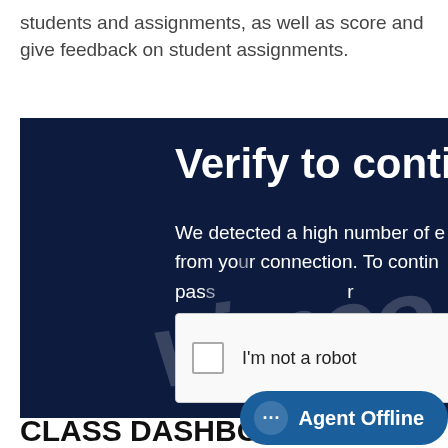students and assignments, as well as score and give feedback on student assignments.
[Figure (screenshot): Screenshot of a Vimeo 'Verify to continue' page showing a CAPTCHA prompt. Dark navy background with bold white title 'Verify to continue', body text 'We detected a high number of errors from your connection. To continue, please confirm you are a human and not a robot.', a reCAPTCHA 'I'm not a robot' checkbox widget, and a large italic 'vimeo' watermark overlapping the text.]
CLASS DASHBOARD